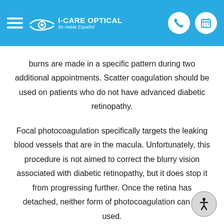I-CARE OPTICAL — Se Habla Español
burns are made in a specific pattern during two additional appointments. Scatter coagulation should be used on patients who do not have advanced diabetic retinopathy.
Focal photocoagulation specifically targets the leaking blood vessels that are in the macula. Unfortunately, this procedure is not aimed to correct the blurry vision associated with diabetic retinopathy, but it does stop it from progressing further. Once the retina has detached, neither form of photocoagulation can be used.